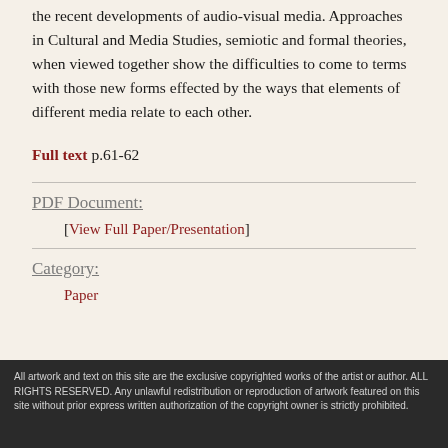the recent developments of audio-visual media. Approaches in Cultural and Media Studies, semiotic and formal theories, when viewed together show the difficulties to come to terms with those new forms effected by the ways that elements of different media relate to each other.
Full text p.61-62
PDF Document:
[View Full Paper/Presentation]
Category:
Paper
All artwork and text on this site are the exclusive copyrighted works of the artist or author. ALL RIGHTS RESERVED. Any unlawful redistribution or reproduction of artwork featured on this site without prior express written authorization of the copyright owner is strictly prohibited.